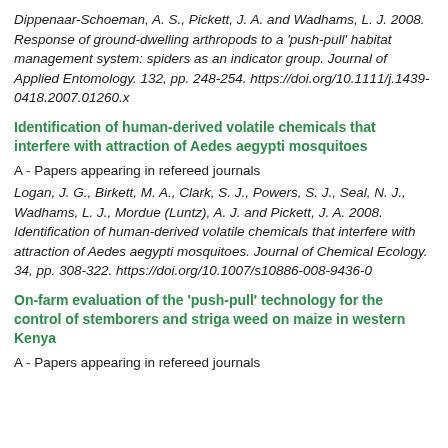Dippenaar-Schoeman, A. S., Pickett, J. A. and Wadhams, L. J. 2008. Response of ground-dwelling arthropods to a 'push-pull' habitat management system: spiders as an indicator group. Journal of Applied Entomology. 132, pp. 248-254. https://doi.org/10.1111/j.1439-0418.2007.01260.x
Identification of human-derived volatile chemicals that interfere with attraction of Aedes aegypti mosquitoes
A - Papers appearing in refereed journals
Logan, J. G., Birkett, M. A., Clark, S. J., Powers, S. J., Seal, N. J., Wadhams, L. J., Mordue (Luntz), A. J. and Pickett, J. A. 2008. Identification of human-derived volatile chemicals that interfere with attraction of Aedes aegypti mosquitoes. Journal of Chemical Ecology. 34, pp. 308-322. https://doi.org/10.1007/s10886-008-9436-0
On-farm evaluation of the 'push-pull' technology for the control of stemborers and striga weed on maize in western Kenya
A - Papers appearing in refereed journals